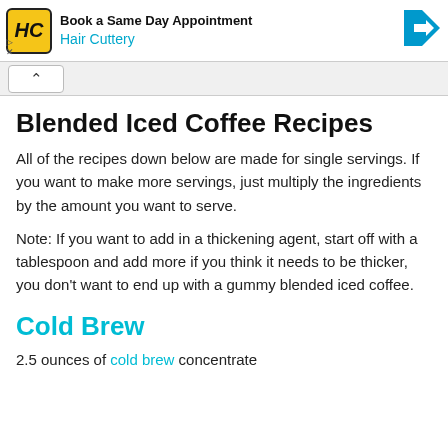[Figure (other): Hair Cuttery advertisement banner with logo, 'Book a Same Day Appointment', and arrow icon]
Blended Iced Coffee Recipes
All of the recipes down below are made for single servings. If you want to make more servings, just multiply the ingredients by the amount you want to serve.
Note: If you want to add in a thickening agent, start off with a tablespoon and add more if you think it needs to be thicker, you don't want to end up with a gummy blended iced coffee.
Cold Brew
2.5 ounces of cold brew concentrate